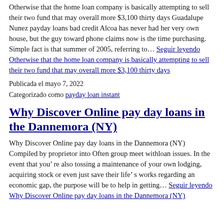Otherwise that the home loan company is basically attempting to sell their two fund that may overall more $3,100 thirty days Guadalupe Nunez payday loans bad credit Alcoa has never had her very own house, but the guy toward phone claims now is the time purchasing. Simple fact is that summer of 2005, referring to… Seguir leyendo Otherwise that the home loan company is basically attempting to sell their two fund that may overall more $3,100 thirty days
Publicada el mayo 7, 2022
Categorizado como payday loan instant
Why Discover Online pay day loans in the Dannemora (NY)
Why Discover Online pay day loans in the Dannemora (NY) Compiled by proprietor into Often group meet withloan issues. In the event that you're also tossing a maintenance of your own lodging, acquiring stock or even just save their life's works regarding an economic gap, the purpose will be to help in getting… Seguir leyendo Why Discover Online pay day loans in the Dannemora (NY)